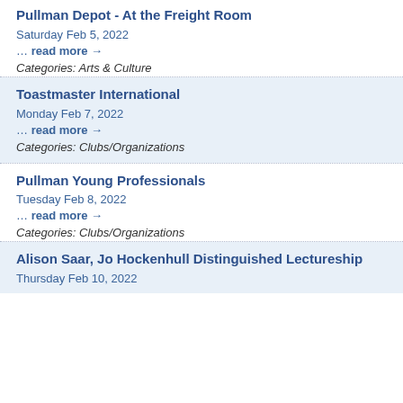Pullman Depot - At the Freight Room
Saturday Feb 5, 2022
… read more →
Categories: Arts & Culture
Toastmaster International
Monday Feb 7, 2022
… read more →
Categories: Clubs/Organizations
Pullman Young Professionals
Tuesday Feb 8, 2022
… read more →
Categories: Clubs/Organizations
Alison Saar, Jo Hockenhull Distinguished Lectureship
Thursday Feb 10, 2022